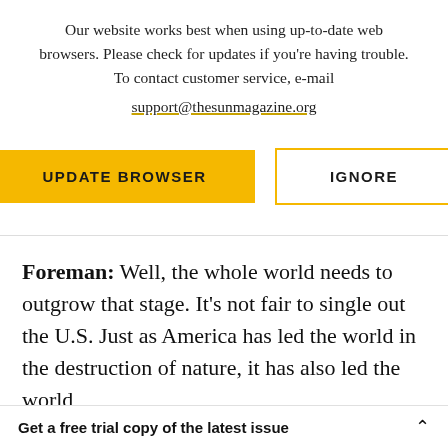Our website works best when using up-to-date web browsers. Please check for updates if you're having trouble. To contact customer service, e-mail
support@thesunmagazine.org
[Figure (other): Two buttons: a yellow filled button labeled UPDATE BROWSER, and a white button with yellow border labeled IGNORE]
Foreman: Well, the whole world needs to outgrow that stage. It's not fair to single out the U.S. Just as America has led the world in the destruction of nature, it has also led the world
Get a free trial copy of the latest issue